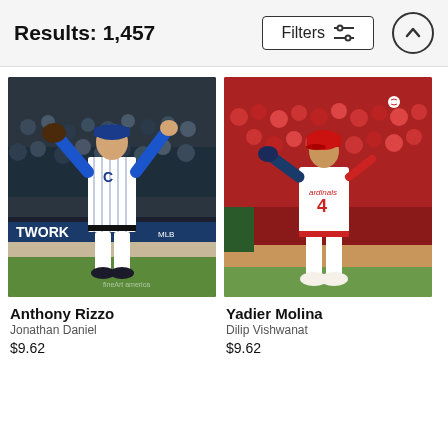Results: 1,457
Filters
[Figure (photo): Baseball player Anthony Rizzo in Chicago Cubs uniform jumping/celebrating on field with crowd in background]
Anthony Rizzo
Jonathan Daniel
$9.62
[Figure (photo): Baseball player Yadier Molina in St. Louis Cardinals uniform #4 running on field with crowd in background]
Yadier Molina
Dilip Vishwanat
$9.62